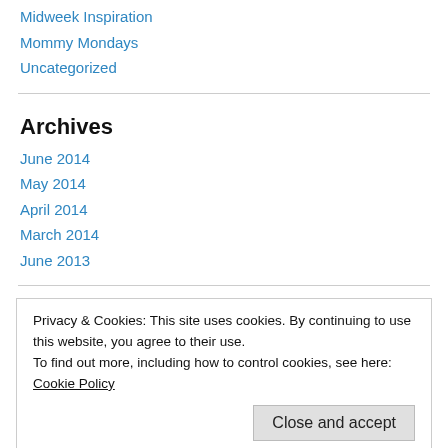Midweek Inspiration
Mommy Mondays
Uncategorized
Archives
June 2014
May 2014
April 2014
March 2014
June 2013
Privacy & Cookies: This site uses cookies. By continuing to use this website, you agree to their use.
To find out more, including how to control cookies, see here: Cookie Policy
Close and accept
new posts by email.